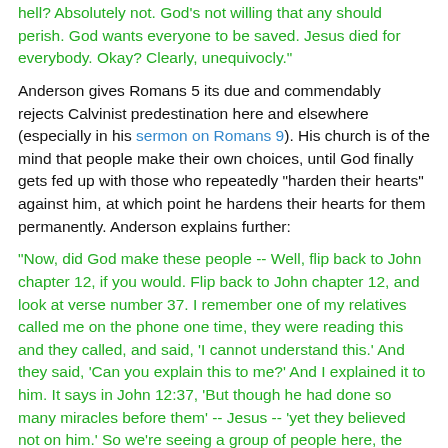hell? Absolutely not. God's not willing that any should perish. God wants everyone to be saved. Jesus died for everybody. Okay? Clearly, unequivocly."
Anderson gives Romans 5 its due and commendably rejects Calvinist predestination here and elsewhere (especially in his sermon on Romans 9). His church is of the mind that people make their own choices, until God finally gets fed up with those who repeatedly "harden their hearts" against him, at which point he hardens their hearts for them permanently. Anderson explains further:
"Now, did God make these people -- Well, flip back to John chapter 12, if you would. Flip back to John chapter 12, and look at verse number 37. I remember one of my relatives called me on the phone one time, they were reading this and they called, and said, 'I cannot understand this.' And they said, 'Can you explain this to me?' And I explained it to him. It says in John 12:37, 'But though he had done so many miracles before them' -- Jesus -- 'yet they believed not on him.' So we're seeing a group of people here, the Pharisees, and really, the house of Israel -- not just the Pharisees but a